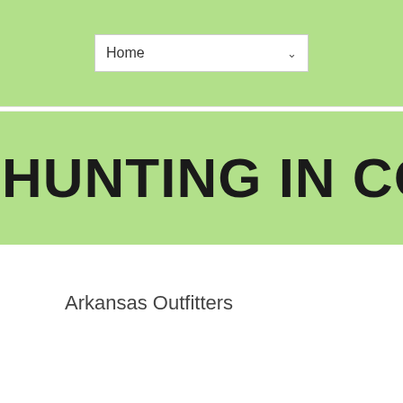Home
HUNTING IN COLORADO
Arkansas Outfitters